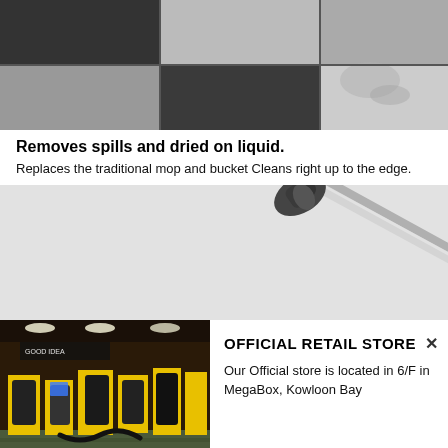[Figure (photo): Close-up of black and white checkered floor tiles, some with dirt/stains]
Removes spills and dried on liquid.
Replaces the traditional mop and bucket Cleans right up to the edge.
[Figure (photo): Mop/cleaning device handle shown on light grey background]
[Figure (photo): Interior of official retail store with yellow displays, Karcher products]
OFFICIAL RETAIL STORE
Our Official store is located in 6/F in MegaBox, Kowloon Bay
官方零售專門店位於九龍灣 MegaBox 6 樓
Our Official store is located in 6/F in MegaBox, Kowloon Bay